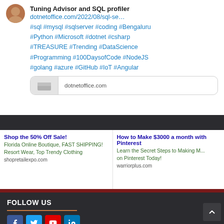Tuning Advisor and SQL profiler
dotnetoffice.com/2022/08/sql-se…
#sql #mysql #sqlserver #coding #Bengaluru #Python #Microsoft #dotnet #csharp #TREASURE #Trending #DataScience #Programming #100DaysofCode #NodeJS #golang #azure #GitHub #IoT #Angular
dotnetoffice.com
Shop the 50% Off Sale!
Florida Online Boutique, FAST SHIPPING!
Resort Wear, Top Trendy Clothing
shopretailexpo.com
How to Make $3000 a month with Pinterest
Learn the Secret Steps to Making M... on Pinterest Today!
warriorplus.com
FOLLOW US